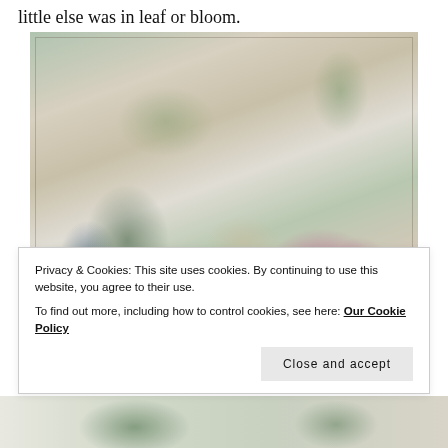little else was in leaf or bloom.
[Figure (photo): A flat-lay photograph of multiple botanical illustrations and drawings spread across a surface, showing various plant species including flowers with pink/purple blooms, green leaves, white daisy-like flowers, and delicate pencil sketches of bulb plants.]
Privacy & Cookies: This site uses cookies. By continuing to use this website, you agree to their use.
To find out more, including how to control cookies, see here: Our Cookie Policy
[Figure (photo): Partial view of another botanical illustration at the bottom of the page showing green plant specimens.]